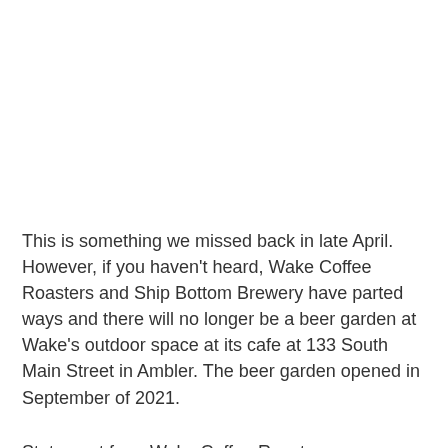This is something we missed back in late April. However, if you haven't heard, Wake Coffee Roasters and Ship Bottom Brewery have parted ways and there will no longer be a beer garden at Wake's outdoor space at its cafe at 133 South Main Street in Ambler. The beer garden opened in September of 2021.
Statement from Wake Coffee Roasters: